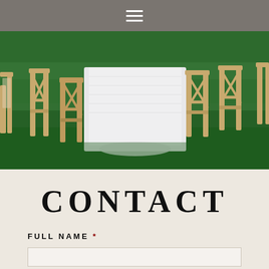Navigation menu (hamburger icon)
[Figure (photo): Outdoor wedding reception scene with wooden cross-back chairs arranged around a table covered with a white lace tablecloth on green grass.]
CONTACT
FULL NAME *